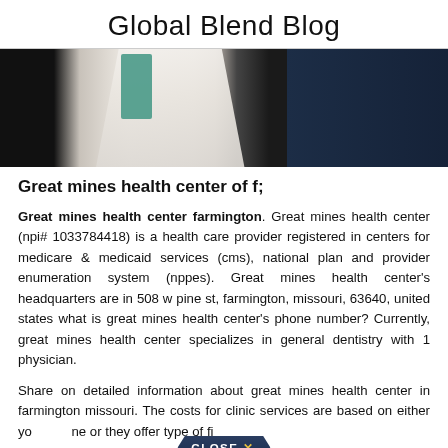Global Blend Blog
[Figure (photo): Photo of medical professionals — one in a white lab coat with teal accent, another in dark clothing, against a dark background.]
Great mines health center of f;
Great mines health center farmington. Great mines health center (npi# 1033784418) is a health care provider registered in centers for medicare & medicaid services (cms), national plan and provider enumeration system (nppes). Great mines health center's headquarters are in 508 w pine st, farmington, missouri, 63640, united states what is great mines health center's phone number? Currently, great mines health center specializes in general dentistry with 1 physician.
Share on detailed information about great mines health center in farmington missouri. The costs for clinic services are based on either your income or they offer type of financial assistance health care services.